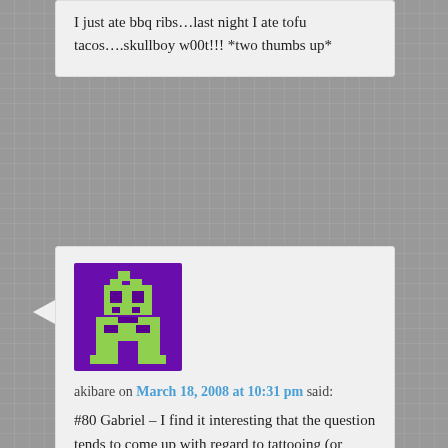I just ate bbq ribs…last night I ate tofu tacos….skullboy w00t!!! *two thumbs up*
[Figure (illustration): Pixel art avatar with purple background and green pixel character resembling a retro video game sprite]
akibare on March 18, 2008 at 10:31 pm said:
#80 Gabriel – I find it interesting that the question tends to come up with regard to tattooing (or occasionally ear notching) but not so much with the branding of cows?

Also piercing, or however they get those big plastic number